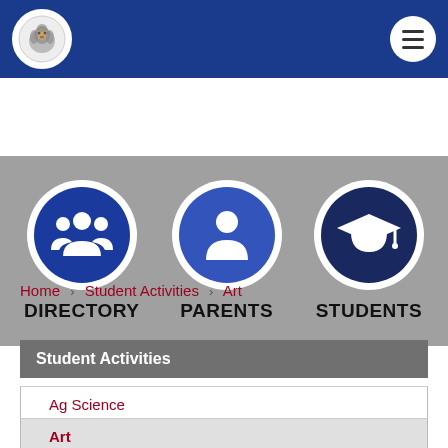School website header with logo and hamburger menu
[Figure (screenshot): Navigation icon bar with three circular icons: Directory (group of people icon, blue), Parents (person icon, medium blue), Students (graduation cap icon, dark navy blue)]
DIRECTORY
PARENTS
STUDENTS
Home › Student Activities › Art
Student Activities
Ag Science
Art